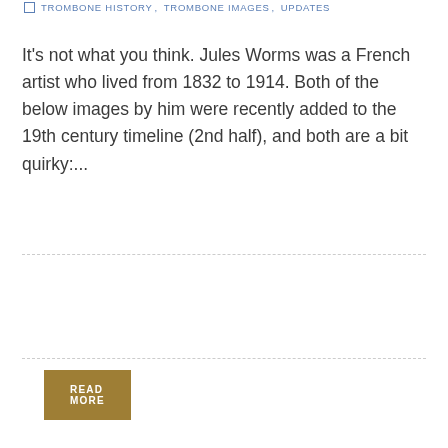TROMBONE HISTORY, TROMBONE IMAGES, UPDATES
It's not what you think. Jules Worms was a French artist who lived from 1832 to 1914. Both of the below images by him were recently added to the 19th century timeline (2nd half), and both are a bit quirky:...
READ MORE